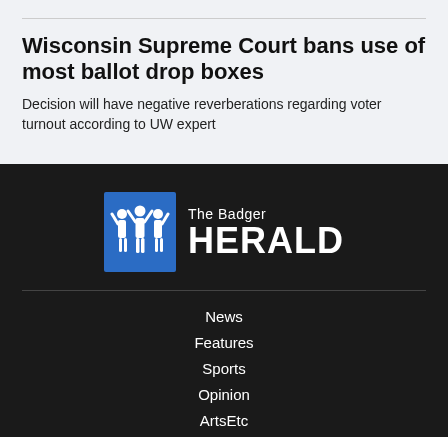Wisconsin Supreme Court bans use of most ballot drop boxes
Decision will have negative reverberations regarding voter turnout according to UW expert
[Figure (logo): The Badger Herald logo — blue shield/badge shape with white silhouettes of people, text 'The Badger HERALD' in white]
News
Features
Sports
Opinion
ArtsEtc
Visuals